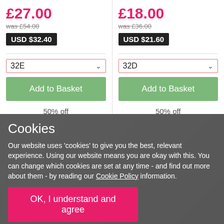£27.00
was £54.00
USD $32.40
32E
Add to Basket
50% off
£18.00
was £36.00
USD $21.60
32D
Add to Basket
50% off
Cookies
Our website uses 'cookies' to give you the best, relevant experience. Using our website means you are okay with this. You can change which cookies are set at any time - and find out more about them - by reading our Cookie Policy information.
OK, I understand and agree